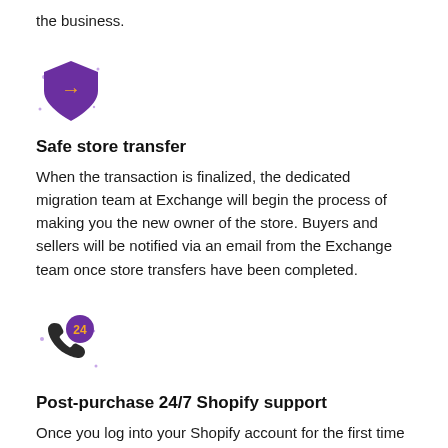the business.
[Figure (illustration): Purple shield icon with a yellow right-arrow in the center, with small decorative sparkle dots around it]
Safe store transfer
When the transaction is finalized, the dedicated migration team at Exchange will begin the process of making you the new owner of the store. Buyers and sellers will be notified via an email from the Exchange team once store transfers have been completed.
[Figure (illustration): Dark phone handset icon with a purple circle badge showing '24' in yellow text, with small decorative sparkle dots around it]
Post-purchase 24/7 Shopify support
Once you log into your Shopify account for the first time and choose a subscription plan, Shopify Support Gurus are available 24/7 to help you with the settings of the store.